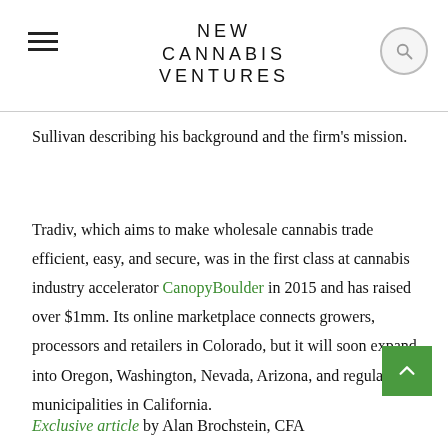NEW CANNABIS VENTURES
Sullivan describing his background and the firm's mission.
Tradiv, which aims to make wholesale cannabis trade efficient, easy, and secure, was in the first class at cannabis industry accelerator CanopyBoulder in 2015 and has raised over $1mm. Its online marketplace connects growers, processors and retailers in Colorado, but it will soon expand into Oregon, Washington, Nevada, Arizona, and regulated municipalities in California.
Exclusive article by Alan Brochstein, CFA